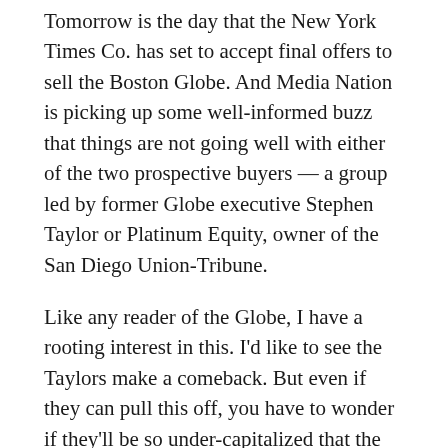Tomorrow is the day that the New York Times Co. has set to accept final offers to sell the Boston Globe. And Media Nation is picking up some well-informed buzz that things are not going well with either of the two prospective buyers — a group led by former Globe executive Stephen Taylor or Platinum Equity, owner of the San Diego Union-Tribune.
Like any reader of the Globe, I have a rooting interest in this. I'd like to see the Taylors make a comeback. But even if they can pull this off, you have to wonder if they'll be so under-capitalized that the cutting will resume almost immediately.
Share this: